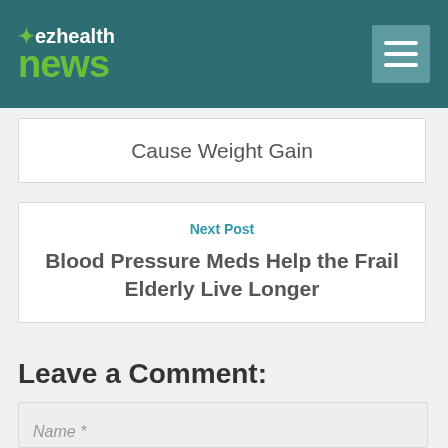ez health news
Cause Weight Gain
Next Post
Blood Pressure Meds Help the Frail Elderly Live Longer
Leave a Comment:
Name *